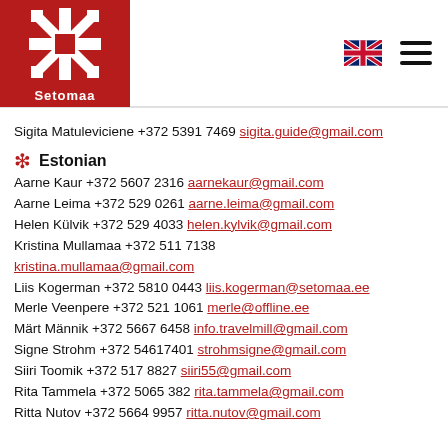[Figure (logo): Setomaa logo: red square with white cross/snowflake pattern and text 'Setomaa' below]
Sigita Matuleviciene +372 5391 7469 sigita.guide@gmail.com
❄ Estonian
Aarne Kaur +372 5607 2316 aarnekaur@gmail.com
Aarne Leima +372 529 0261 aarne.leima@gmail.com
Helen Külvik +372 529 4033 helen.kylvik@gmail.com
Kristina Mullamaa +372 511 7138 kristina.mullamaa@gmail.com
Liis Kogerman +372 5810 0443 liis.kogerman@setomaa.ee
Merle Veenpere +372 521 1061 merle@offline.ee
Märt Männik +372 5667 6458 info.travelmill@gmail.com
Signe Strohm +372 54617401 strohmsigne@gmail.com
Siiri Toomik +372 517 8827 siiri55@gmail.com
Rita Tammela +372 5065 382 rita.tammela@gmail.com
Ritta Nutov +372 5664 9957 ritta.nutov@gmail.com